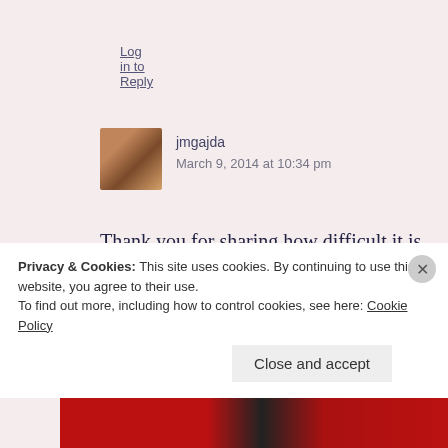Log in to Reply
jmgajda
March 9, 2014 at 10:34 pm
Thank you for sharing how difficult it is to let neighbors and acquaintances know. I also feel apprehensive when I casually mention I have ADD, but I think it’s harder if someone has depression, bipolar, schizophrenia
Privacy & Cookies: This site uses cookies. By continuing to use this website, you agree to their use.
To find out more, including how to control cookies, see here: Cookie Policy
Close and accept